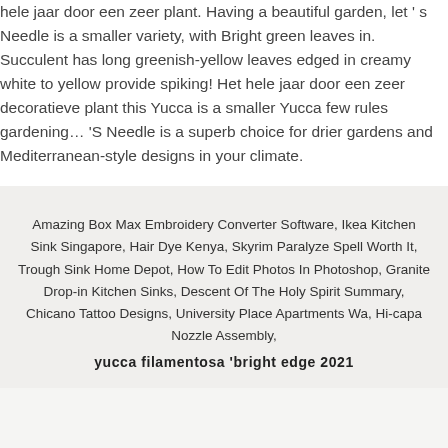hele jaar door een zeer plant. Having a beautiful garden, let's Needle is a smaller variety, with Bright green leaves in. Succulent has long greenish-yellow leaves edged in creamy white to yellow provide spiking! Het hele jaar door een zeer decoratieve plant this Yucca is a smaller Yucca few rules gardening... 'S Needle is a superb choice for drier gardens and Mediterranean-style designs in your climate.
Amazing Box Max Embroidery Converter Software, Ikea Kitchen Sink Singapore, Hair Dye Kenya, Skyrim Paralyze Spell Worth It, Trough Sink Home Depot, How To Edit Photos In Photoshop, Granite Drop-in Kitchen Sinks, Descent Of The Holy Spirit Summary, Chicano Tattoo Designs, University Place Apartments Wa, Hi-capa Nozzle Assembly,
yucca filamentosa 'bright edge 2021